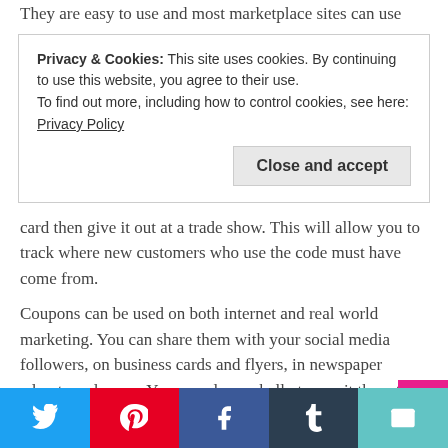They are easy to use and most marketplace sites can use
Privacy & Cookies: This site uses cookies. By continuing to use this website, you agree to their use.
To find out more, including how to control cookies, see here: Privacy Policy
[Close and accept]
card then give it out at a trade show. This will allow you to track where new customers who use the code must have come from.
Coupons can be used on both internet and real world marketing. You can share them with your social media followers, on business cards and flyers, in newspaper adverts and so on. You can also verbally transmit them to people, i.e. you can tell people what the coupon code is. This gives them a lot of flexibility and makes them ideal for promoting away from your actual craft shop.